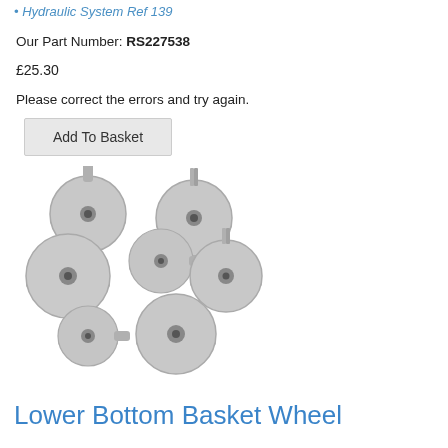Hydraulic System Ref 139
Our Part Number: RS227538
£25.30
Please correct the errors and try again.
Add To Basket
[Figure (photo): Eight grey plastic dishwasher lower basket wheel rollers arranged in a scattered group, showing circular disc shape with central axle/clip mechanism]
Lower Bottom Basket Wheel